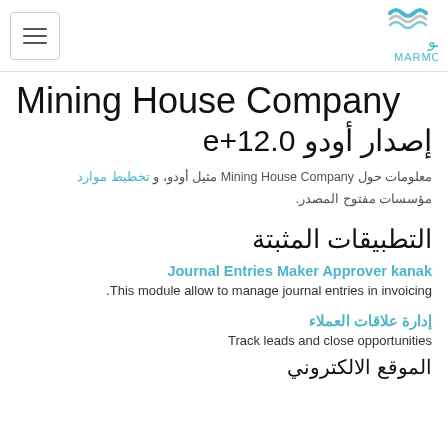Mining House Company - Marmo logo header
Mining House Company
إصدار أودو 12.0+e
معلومات حول Mining House Company مثيل أودو، و تخطيط موارد مؤسسات مفتوح المصدر.
التطبيقات المثبتة
Journal Entries Maker Approver kanak
This module allow to manage journal entries in invoicing.
إدارة علاقات العملاء
Track leads and close opportunities
الموقع الالكتروني